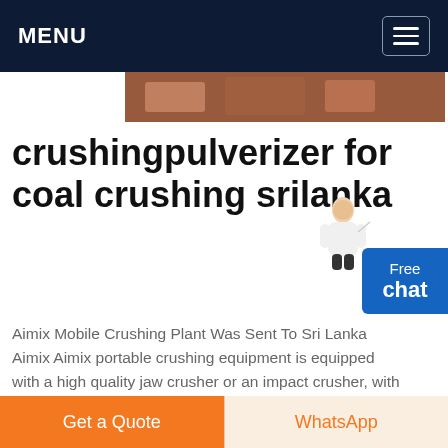MENU
[Figure (photo): Partial view of a crushing/mining machine in reddish-brown tones]
crushingpulverizer for coal crushing srilanka
Aimix Mobile Crushing Plant Was Sent To Sri Lanka Aimix Aimix portable crushing equipment is equipped with a high quality jaw crusher or an impact crusher, with maximum crushing capacity up to 650 t/h, able to be widely used in recycling of concrete and waste, processing of construction waste or coal
Get Price
[Figure (photo): Industrial pulverizer machinery in grayscale]
Pulverizer
Get a Quote
WhatsApp